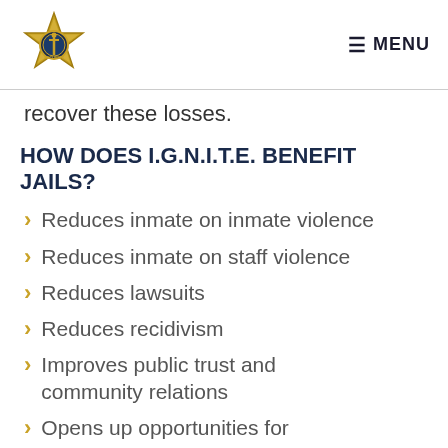MENU
recover these losses.
HOW DOES I.G.N.I.T.E. BENEFIT JAILS?
Reduces inmate on inmate violence
Reduces inmate on staff violence
Reduces lawsuits
Reduces recidivism
Improves public trust and community relations
Opens up opportunities for